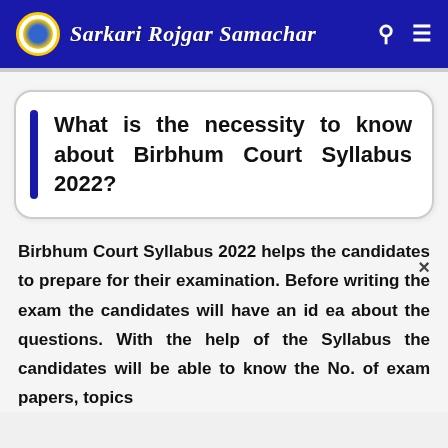Sarkari Rojgar Samachar
What is the necessity to know about Birbhum Court Syllabus 2022?
Birbhum Court Syllabus 2022 helps the candidates to prepare for their examination. Before writing the exam the candidates will have an id ea about the questions. With the help of the Syllabus the candidates will be able to know the No. of exam papers, topics